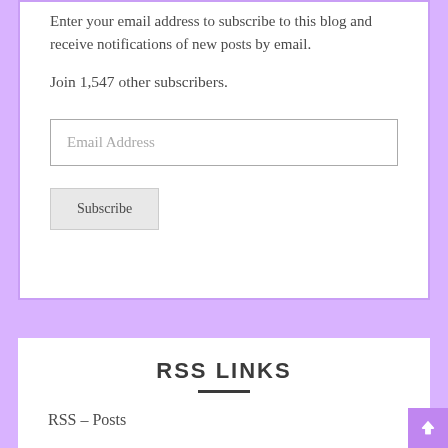Enter your email address to subscribe to this blog and receive notifications of new posts by email.
Join 1,547 other subscribers.
Email Address
Subscribe
RSS LINKS
RSS – Posts
RSS – Comments